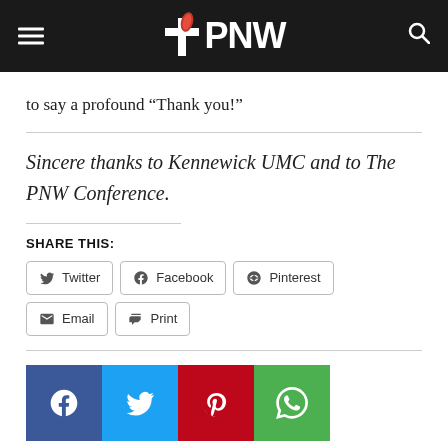PNW
to say a profound “Thank you!”
Sincere thanks to Kennewick UMC and to The PNW Conference.
SHARE THIS:
Twitter  Facebook  Pinterest  Email  Print
[Figure (screenshot): Social media share icon buttons: Facebook (blue), Twitter (light blue), Pinterest (red), WhatsApp (green)]